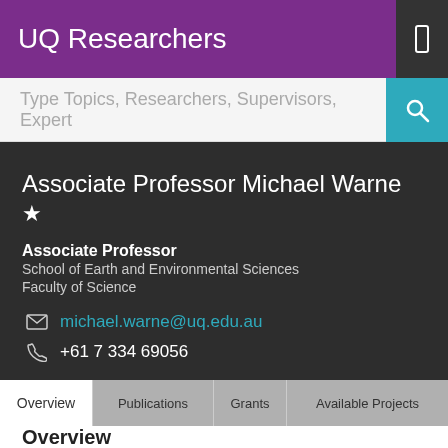UQ Researchers
Type Topics, Researchers, Supervisors, Expert
Associate Professor Michael Warne ★
Associate Professor
School of Earth and Environmental Sciences
Faculty of Science
michael.warne@uq.edu.au
+61 7 334 69056
Overview  Publications  Grants  Available Projects
Overview